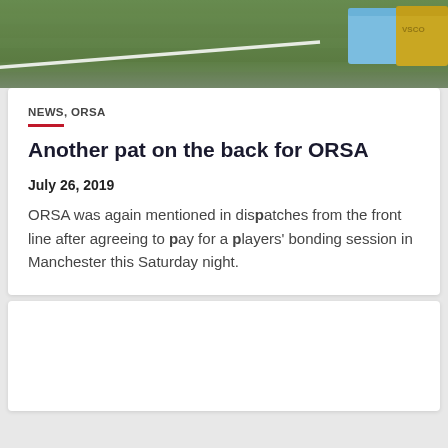[Figure (photo): Aerial/ground-level photo of a green sports field with a white line marking, and a blue and yellow padded mat/equipment in the upper right corner.]
NEWS, ORSA
Another pat on the back for ORSA
July 26, 2019
ORSA was again mentioned in dispatches from the front line after agreeing to pay for a players' bonding session in Manchester this Saturday night.